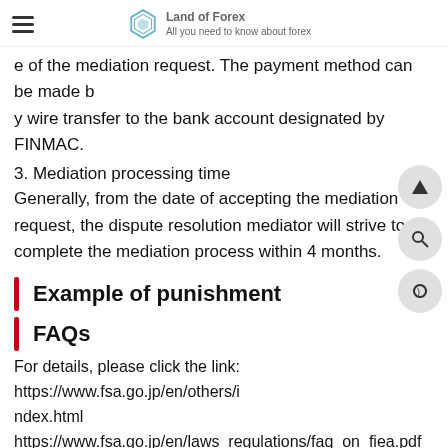Land of Forex — All you need to know about forex
e of the mediation request. The payment method can be made by wire transfer to the bank account designated by FINMAC.
3. Mediation processing time
Generally, from the date of accepting the mediation request, the dispute resolution mediator will strive to complete the mediation process within 4 months.
Example of punishment
FAQs
For details, please click the link: https://www.fsa.go.jp/en/others/index.html
https://www.fsa.go.jp/en/laws_regulations/faq_on_fiea.pdf
Related Links